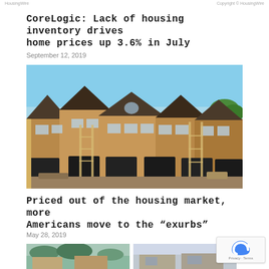[site navigation links]
CoreLogic: Lack of housing inventory drives home prices up 3.6% in July
September 12, 2019
[Figure (photo): Row of new townhouses under construction with scaffolding, tan/brown brick exterior, dark roofs, multiple garage doors, construction materials on ground, blue sky background]
Priced out of the housing market, more Americans move to the “exurbs”
May 28, 2019
[Figure (photo): Partial view of houses — two cropped images side by side, partially visible at bottom of page]